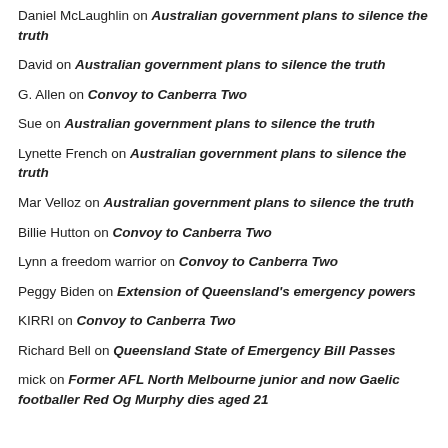Daniel McLaughlin on Australian government plans to silence the truth
David on Australian government plans to silence the truth
G. Allen on Convoy to Canberra Two
Sue on Australian government plans to silence the truth
Lynette French on Australian government plans to silence the truth
Mar Velloz on Australian government plans to silence the truth
Billie Hutton on Convoy to Canberra Two
Lynn a freedom warrior on Convoy to Canberra Two
Peggy Biden on Extension of Queensland's emergency powers
KIRRI on Convoy to Canberra Two
Richard Bell on Queensland State of Emergency Bill Passes
mick on Former AFL North Melbourne junior and now Gaelic footballer Red Og Murphy dies aged 21